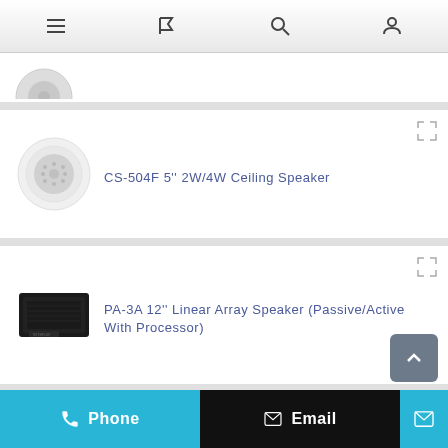Navigation bar with menu, flag, search, and account icons
[Figure (photo): Partial white ceiling speaker visible at top of page]
[Figure (photo): CS-504F 5'' 2W/4W Ceiling Speaker - white circular ceiling speaker]
CS-504F 5'' 2W/4W Ceiling Speaker
[Figure (photo): PA-3A 12'' Linear Array Speaker (Passive/Active With Processor) - black rectangular speaker]
PA-3A 12'' Linear Array Speaker (Passive/Active With Processor)
[Figure (photo): PA-6/PA-6A 6'' Linear Array Speakers (Passive/Active) - black horizontal speaker]
PA-6/PA-6A 6'' Linear Array Speakers (Passive/Active)
Phone | Email